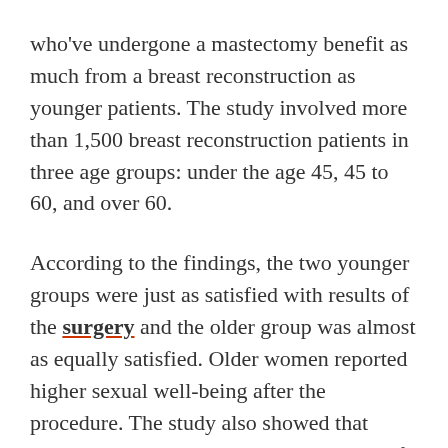who've undergone a mastectomy benefit as much from a breast reconstruction as younger patients. The study involved more than 1,500 breast reconstruction patients in three age groups: under the age 45, 45 to 60, and over 60.
According to the findings, the two younger groups were just as satisfied with results of the surgery and the older group was almost as equally satisfied. Older women reported higher sexual well-being after the procedure. The study also showed that whether the reconstruction included use of existing breast tissue or implants, age did not factor into an increased risk of